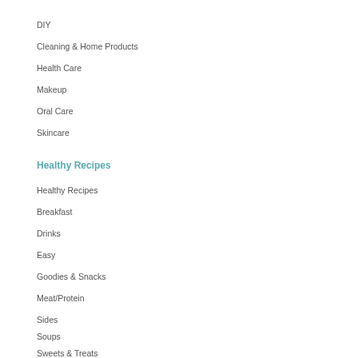DIY
Cleaning & Home Products
Health Care
Makeup
Oral Care
Skincare
Healthy Recipes
Healthy Recipes
Breakfast
Drinks
Easy
Goodies & Snacks
Meat/Protein
Sides
Soups
Sweets & Treats